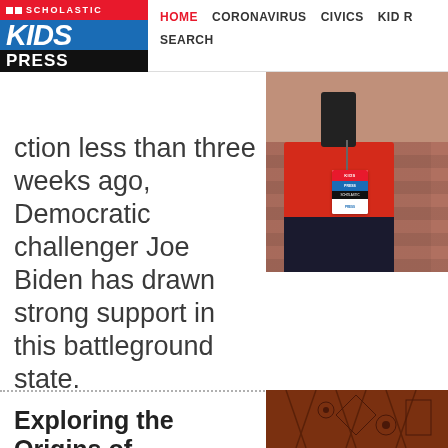SCHOLASTIC KIDS PRESS — HOME | CORONAVIRUS | CIVICS | KID R… | SEARCH
[Figure (photo): A kid reporter wearing a red shirt with a Kids Press badge, holding a phone, standing in front of a brick wall]
…ction less than three weeks ago, Democratic challenger Joe Biden has drawn strong support in this battleground state.
Exploring the Origins of
[Figure (photo): Close-up of a decorative wooden surface with geometric carved patterns, warm brown tones]